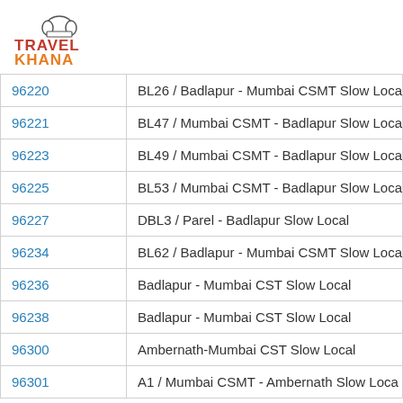[Figure (logo): TravelKhana logo with chef hat icon, TRAVEL in red and KHANA in orange with dots below]
| Number | Train Name |
| --- | --- |
| 96220 | BL26 / Badlapur - Mumbai CSMT Slow Loca |
| 96221 | BL47 / Mumbai CSMT - Badlapur Slow Loca |
| 96223 | BL49 / Mumbai CSMT - Badlapur Slow Loca |
| 96225 | BL53 / Mumbai CSMT - Badlapur Slow Loca |
| 96227 | DBL3 / Parel - Badlapur Slow Local |
| 96234 | BL62 / Badlapur - Mumbai CSMT Slow Loca |
| 96236 | Badlapur - Mumbai CST Slow Local |
| 96238 | Badlapur - Mumbai CST Slow Local |
| 96300 | Ambernath-Mumbai CST Slow Local |
| 96301 | A1 / Mumbai CSMT - Ambernath Slow Loca |